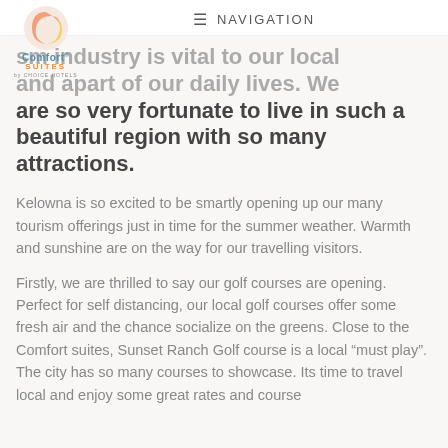NAVIGATION
sm industry is vital to our local and apart of our daily lives. We are so very fortunate to live in such a beautiful region with so many attractions.
Kelowna is so excited to be smartly opening up our many tourism offerings just in time for the summer weather. Warmth and sunshine are on the way for our travelling visitors.
Firstly, we are thrilled to say our golf courses are opening. Perfect for self distancing, our local golf courses offer some fresh air and the chance socialize on the greens. Close to the Comfort suites, Sunset Ranch Golf course is a local “must play”. The city has so many courses to showcase. Its time to travel local and enjoy some great rates and course